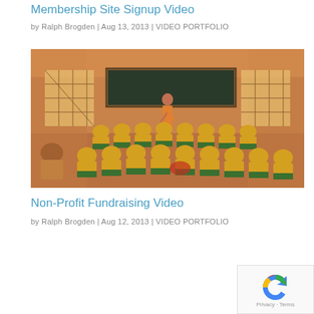Membership Site Signup Video
by Ralph Brogden | Aug 13, 2013 | VIDEO PORTFOLIO
[Figure (photo): Children in yellow shirts sitting on the floor of a classroom facing a teacher at a chalkboard]
Non-Profit Fundraising Video
by Ralph Brogden | Aug 12, 2013 | VIDEO PORTFOLIO